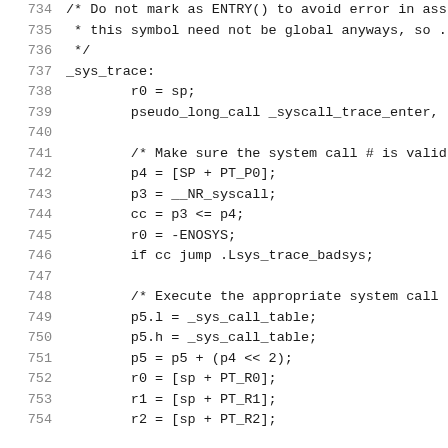734   /* Do not mark as ENTRY() to avoid error in ass
735    * this symbol need not be global anyways, so .
736    */
737   _sys_trace:
738           r0 = sp;
739           pseudo_long_call _syscall_trace_enter,
740
741           /* Make sure the system call # is valid
742           p4 = [SP + PT_P0];
743           p3 = __NR_syscall;
744           cc = p3 <= p4;
745           r0 = -ENOSYS;
746           if cc jump .Lsys_trace_badsys;
747
748           /* Execute the appropriate system call
749           p5.l = _sys_call_table;
750           p5.h = _sys_call_table;
751           p5 = p5 + (p4 << 2);
752           r0 = [sp + PT_R0];
753           r1 = [sp + PT_R1];
754           r2 = [sp + PT_R2];